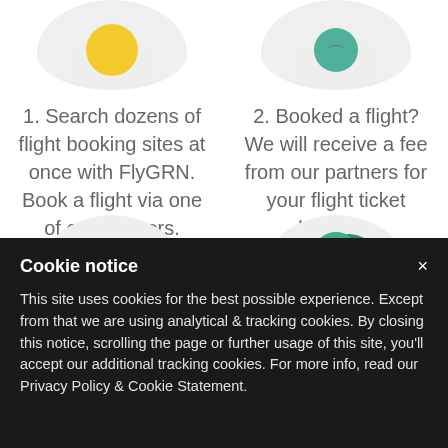[Figure (illustration): Yellow circular icon partially visible at top left inside a light gray circle]
[Figure (illustration): Green circular icon partially visible at top right inside a light gray circle]
1. Search dozens of flight booking sites at once with FlyGRN. Book a flight via one of our partners.
2. Booked a flight? We will receive a fee from our partners for your flight ticket booking.
[Figure (illustration): Teal/green leaf checkmark icon partially visible at bottom left inside a light gray circle]
[Figure (illustration): Teal/green tree icon partially visible at bottom right inside a light gray circle]
Cookie notice
This site uses cookies for the best possible experience. Except from that we are using analytical & tracking cookies. By closing this notice, scrolling the page or further usage of this site, you'll accept our additional tracking cookies. For more info, read our Privacy Policy & Cookie Statement.